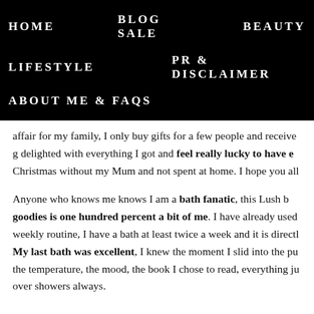HOME   BLOG SALE   BEAUTY   LIFESTYLE   PR & DISCLAIMER   ABOUT ME & FAQs
affair for my family, I only buy gifts for a few people and receive g delighted with everything I got and feel really lucky to have e Christmas without my Mum and not spent at home. I hope you all
Anyone who knows me knows I am a bath fanatic, this Lush b goodies is one hundred percent a bit of me. I have already used weekly routine, I have a bath at least twice a week and it is directl My last bath was excellent, I knew the moment I slid into the pu the temperature, the mood, the book I chose to read, everything ju over showers always.